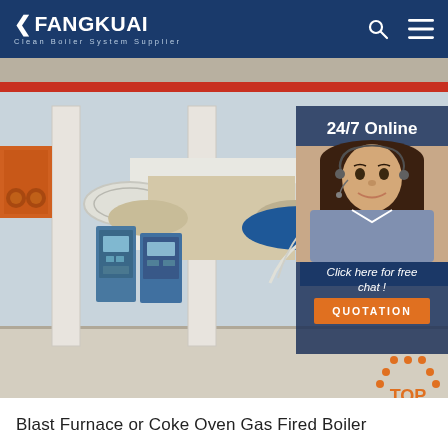FANGKUAI — Clean Boiler System Supplier
[Figure (photo): Industrial boiler facility interior showing large horizontal cylindrical boilers (white and blue), control panels, and structural columns. Overlay panel at right shows '24/7 Online' customer service agent with headset, 'Click here for free chat!' text, and orange QUOTATION button. Orange TOP icon at bottom right.]
Blast Furnace or Coke Oven Gas Fired Boiler